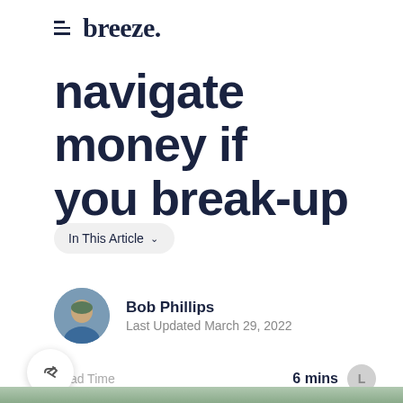breeze.
navigate money if you break-up
In This Article ▾
Bob Phillips
Last Updated March 29, 2022
Read Time  6 mins
Reviewed by  Jack Wolstenholm